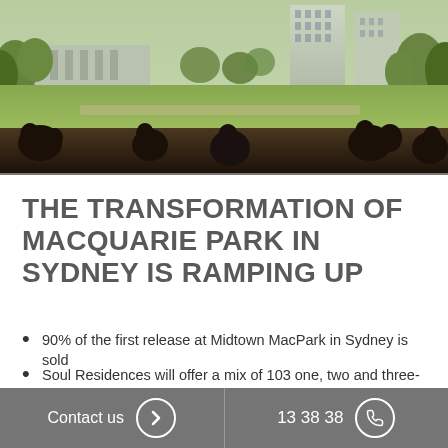[Figure (photo): Aerial/ground-level view of Macquarie Park Sydney development with green lawn, trees, people sitting, and apartment buildings in the background]
THE TRANSFORMATION OF MACQUARIE PARK IN SYDNEY IS RAMPING UP
90% of the first release at Midtown MacPark in Sydney is sold
Soul Residences will offer a mix of 103 one, two and three-bedroom apartments
First 10 eligible buyers can secure an apartment with $10K
Contact us  13 38 38